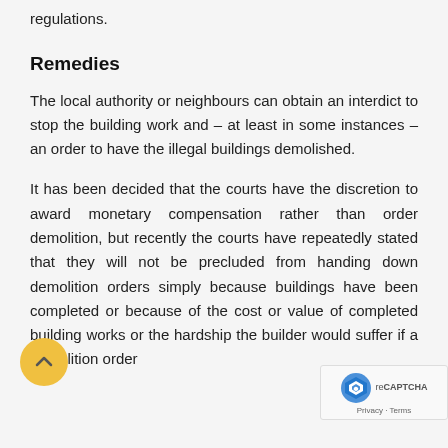regulations.
Remedies
The local authority or neighbours can obtain an interdict to stop the building work and – at least in some instances – an order to have the illegal buildings demolished.
It has been decided that the courts have the discretion to award monetary compensation rather than order demolition, but recently the courts have repeatedly stated that they will not be precluded from handing down demolition orders simply because buildings have been completed or because of the cost or value of completed building works or the hardship the builder would suffer if a demolition order granted.